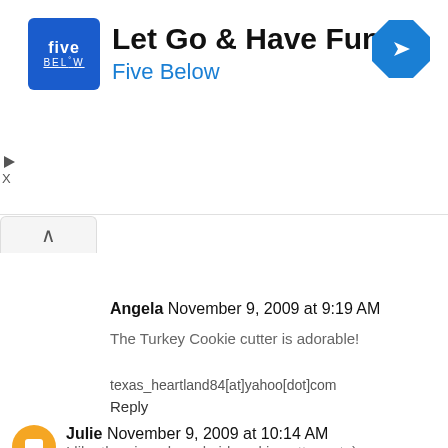[Figure (logo): Five Below advertisement banner with logo, text 'Let Go & Have Fun / Five Below', and a blue diamond arrow icon]
Angela November 9, 2009 at 9:19 AM
The Turkey Cookie cutter is adorable!
texas_heartland84[at]yahoo[dot]com
Reply
Julie November 9, 2009 at 10:14 AM
I like the gingerbread girl cookie cutter set :)